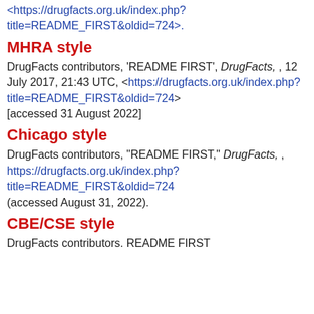<https://drugfacts.org.uk/index.php?title=README_FIRST&oldid=724>.
MHRA style
DrugFacts contributors, 'README FIRST', DrugFacts, , 12 July 2017, 21:43 UTC, <https://drugfacts.org.uk/index.php?title=README_FIRST&oldid=724> [accessed 31 August 2022]
Chicago style
DrugFacts contributors, "README FIRST," DrugFacts, , https://drugfacts.org.uk/index.php?title=README_FIRST&oldid=724 (accessed August 31, 2022).
CBE/CSE style
DrugFacts contributors. README FIRST [Internet]. DrugFacts; 2017 Jul 12, 21:43...